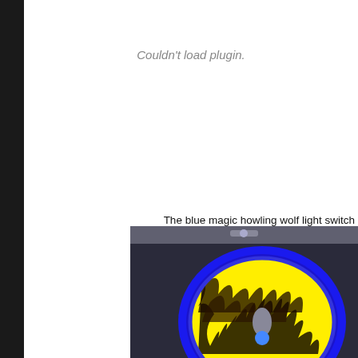Couldn't load plugin.
The blue magic howling wolf light switch
[Figure (photo): Photo of a blue circular light switch with a yellow and black flame pattern design, partially cropped at the bottom of the page.]